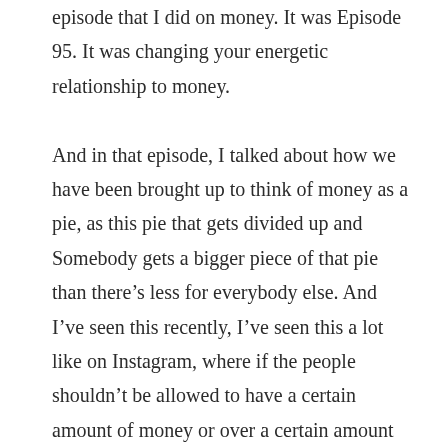episode that I did on money. It was Episode 95. It was changing your energetic relationship to money. And in that episode, I talked about how we have been brought up to think of money as a pie, as this pie that gets divided up and Somebody gets a bigger piece of that pie than there's less for everybody else. And I've seen this recently, I've seen this a lot like on Instagram, where if the people shouldn't be allowed to have a certain amount of money or over a certain amount of money, they, they should have to stop earning money and have to give their money away. And I find this